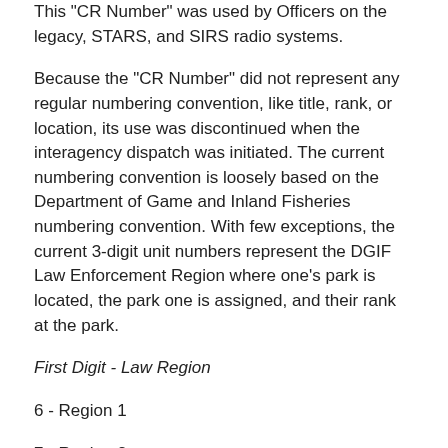This "CR Number" was used by Officers on the legacy, STARS, and SIRS radio systems.
Because the "CR Number" did not represent any regular numbering convention, like title, rank, or location, its use was discontinued when the interagency dispatch was initiated. The current numbering convention is loosely based on the Department of Game and Inland Fisheries numbering convention. With few exceptions, the current 3-digit unit numbers represent the DGIF Law Enforcement Region where one's park is located, the park one is assigned, and their rank at the park.
First Digit - Law Region
6 - Region 1
7 - Region 2